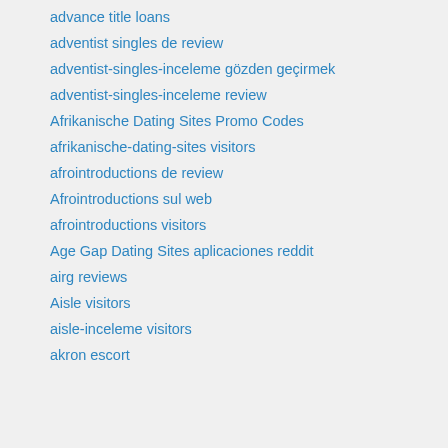advance title loans
adventist singles de review
adventist-singles-inceleme gözden geçirmek
adventist-singles-inceleme review
Afrikanische Dating Sites Promo Codes
afrikanische-dating-sites visitors
afrointroductions de review
Afrointroductions sul web
afrointroductions visitors
Age Gap Dating Sites aplicaciones reddit
airg reviews
Aisle visitors
aisle-inceleme visitors
akron escort